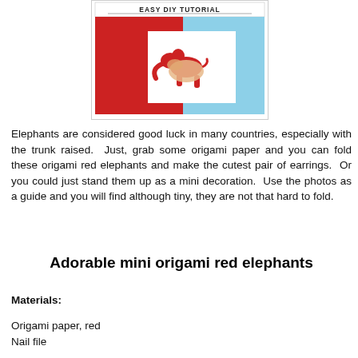[Figure (photo): Photo showing a hand holding a small red origami elephant against a red and light blue background. Banner at top reads 'EASY DIY TUTORIAL'.]
Elephants are considered good luck in many countries, especially with the trunk raised.  Just, grab some origami paper and you can fold these origami red elephants and make the cutest pair of earrings.  Or you could just stand them up as a mini decoration.  Use the photos as a guide and you will find although tiny, they are not that hard to fold.
Adorable mini origami red elephants
Materials:
Origami paper, red
Nail file